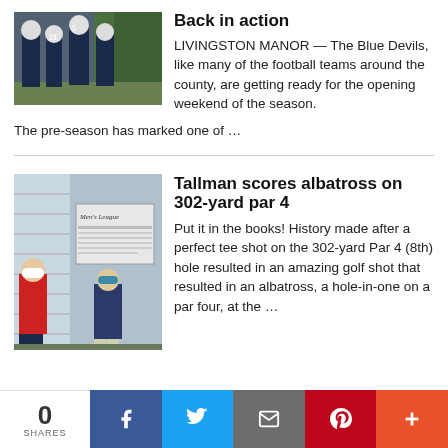[Figure (photo): Football players in blue jerseys and helmets talking together on a field]
Back in action
LIVINGSTON MANOR — The Blue Devils, like many of the football teams around the county, are getting ready for the opening weekend of the season. The pre-season has marked one of …
[Figure (photo): Two men standing outside near a Men's League scoreboard sign, one in red polo shirt and one in blue shirt]
Tallman scores albatross on 302-yard par 4
Put it in the books! History made after a perfect tee shot on the 302-yard Par 4 (8th) hole resulted in an amazing golf shot that resulted in an albatross, a hole-in-one on a par four, at the …
0 SHARES | Facebook | Twitter | Email | Pinterest | More